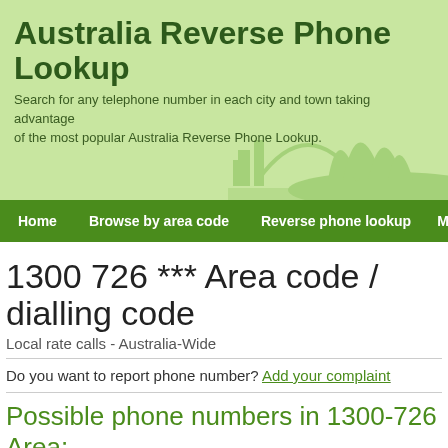[Figure (illustration): Green banner header with Sydney Opera House skyline silhouette in lighter green]
Australia Reverse Phone Lookup
Search for any telephone number in each city and town taking advantage of the most popular Australia Reverse Phone Lookup.
Home | Browse by area code | Reverse phone lookup | Make a com...
1300 726 *** Area code / dialling code
Local rate calls - Australia-Wide
Do you want to report phone number? Add your complaint
Possible phone numbers in 1300-726 Area:
1300 726 000   1300 726 001   1300 726 002   1300 72...